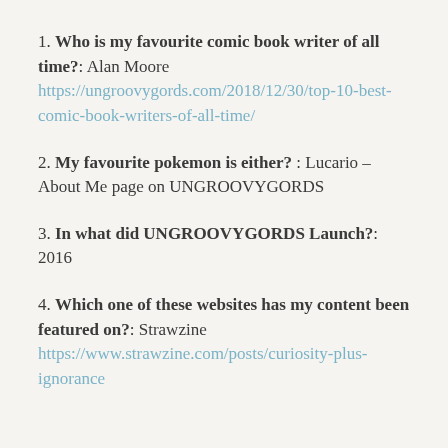1. Who is my favourite comic book writer of all time?: Alan Moore https://ungroovygords.com/2018/12/30/top-10-best-comic-book-writers-of-all-time/
2. My favourite pokemon is either? : Lucario – About Me page on UNGROOVYGORDS
3. In what did UNGROOVYGORDS Launch?: 2016
4. Which one of these websites has my content been featured on?: Strawzine https://www.strawzine.com/posts/curiosity-plus-ignorance